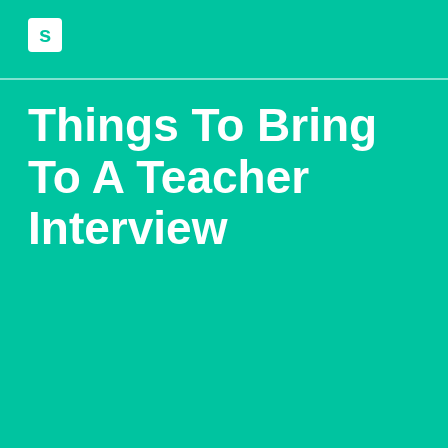S
Things To Bring To A Teacher Interview